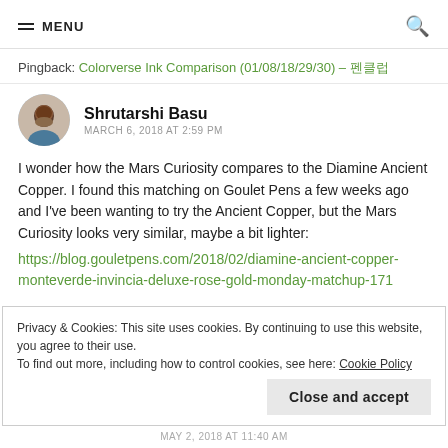MENU
Pingback: Colorverse Ink Comparison (01/08/18/29/30) – 펜클럽
Shrutarshi Basu
MARCH 6, 2018 AT 2:59 PM
I wonder how the Mars Curiosity compares to the Diamine Ancient Copper. I found this matching on Goulet Pens a few weeks ago and I've been wanting to try the Ancient Copper, but the Mars Curiosity looks very similar, maybe a bit lighter:
https://blog.gouletpens.com/2018/02/diamine-ancient-copper-monteverde-invincia-deluxe-rose-gold-monday-matchup-171
Privacy & Cookies: This site uses cookies. By continuing to use this website, you agree to their use.
To find out more, including how to control cookies, see here: Cookie Policy
Close and accept
MAY 2, 2018 AT 11:40 AM